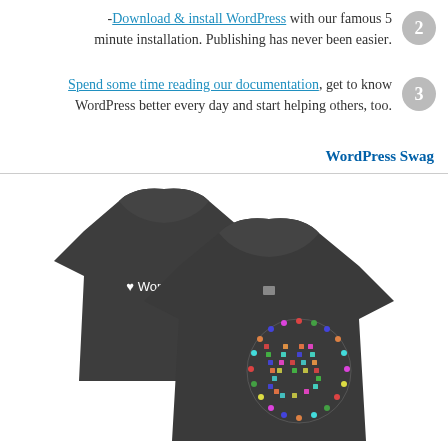Download & install WordPress with our famous 5-minute installation. Publishing has never been easier.
Spend some time reading our documentation, get to know WordPress better every day and start helping others, too.
WordPress Swag
[Figure (photo): Two dark gray t-shirts showing WordPress branded designs. The back shirt (left) shows a white heart and 'WordPress' text. The front shirt (right) shows a colorful mosaic WordPress W logo.]